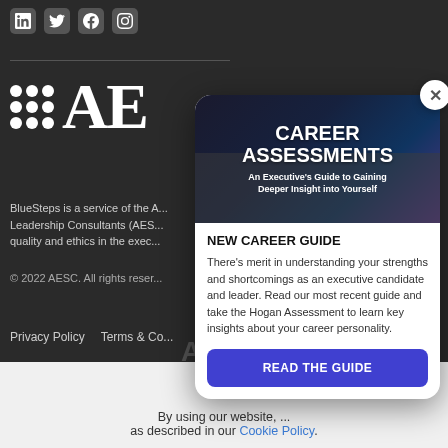[Figure (screenshot): Social media icons row: LinkedIn, Twitter, Facebook, Instagram icons on dark background]
[Figure (logo): AESC logo with 3x3 dot grid and letters AE on dark background]
BlueSteps is a service of the A... Leadership Consultants (AES... quality and ethics in the exec...
© 2022 AESC. All rights reser...
Privacy Policy    Terms & Co...
[Figure (screenshot): Modal popup with career assessments book cover showing dark background with people sitting, titled CAREER ASSESSMENTS - An Executive's Guide to Gaining Deeper Insight into Yourself]
NEW CAREER GUIDE
There's merit in understanding your strengths and shortcomings as an executive candidate and leader. Read our most recent guide and take the Hogan Assessment to learn key insights about your career personality.
READ THE GUIDE
By using our website, ... as described in our Cookie Policy.